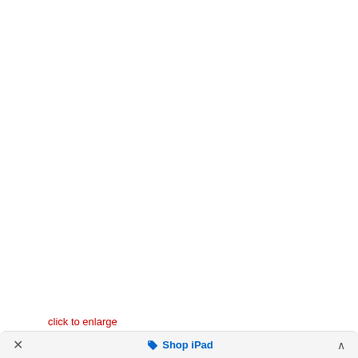[Figure (other): Mostly blank white area, content not visible (image area above click to enlarge link)]
click to enlarge
✕   🏷 Shop iPad   ∧